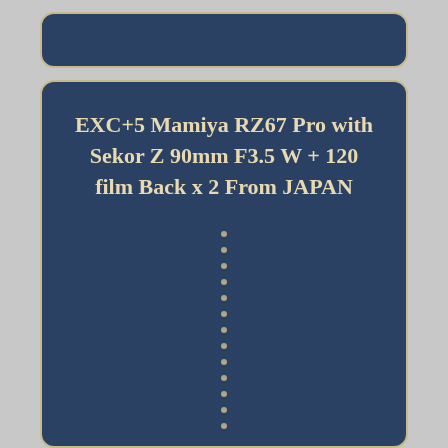[Figure (other): Dark navy blue rounded rectangle bar at the top of the page, decorative header element]
EXC+5 Mamiya RZ67 Pro with Sekor Z 90mm F3.5 W + 120 film Back x 2 From JAPAN
[Figure (other): Column of small bullet dots arranged vertically in the center of the dark navy card, followed by two dots side by side at the bottom]
EXC+5 Mamiya RZ67 Pro w/ Sekor Z 90mm F3.5